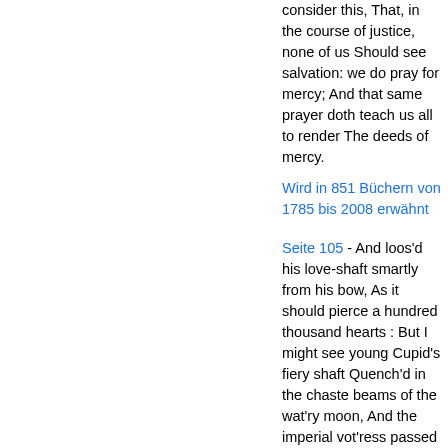consider this, That, in the course of justice, none of us Should see salvation: we do pray for mercy; And that same prayer doth teach us all to render The deeds of mercy.
Wird in 851 Büchern von 1785 bis 2008 erwähnt
Seite 105 - And loos'd his love-shaft smartly from his bow, As it should pierce a hundred thousand hearts : But I might see young Cupid's fiery shaft Quench'd in the chaste beams of the wat'ry moon, And the imperial vot'ress passed on, In maiden meditation, fancy-free. Yet mark'd I